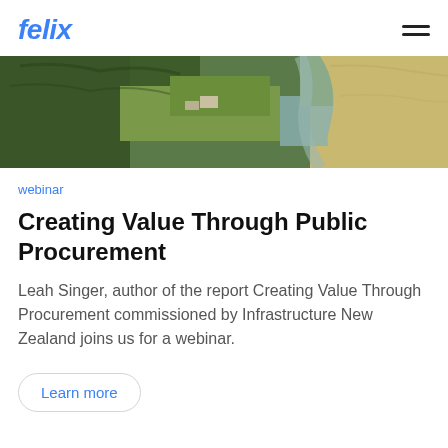felix
[Figure (photo): Aerial photo of a coastal landscape with green forests, farmland, sandy beach, and a river or estuary meeting the sea.]
webinar
Creating Value Through Public Procurement
Leah Singer, author of the report Creating Value Through Procurement commissioned by Infrastructure New Zealand joins us for a webinar.
Learn more